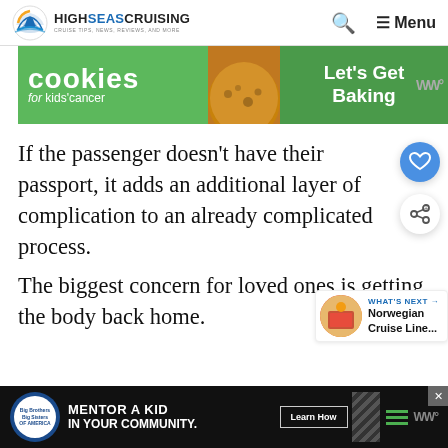HIGH SEAS CRUISING — CRUISE TIPS, NEWS, REVIEWS, AND MORE
[Figure (screenshot): Advertisement banner: cookies for kids' cancer — Let's Get Baking]
If the passenger doesn't have their passport, it adds an additional layer of complication to an already complicated process.
The biggest concern for loved ones is getting the body back home.
[Figure (screenshot): What's Next widget showing Norwegian Cruise Line...]
[Figure (screenshot): Bottom advertisement: Big Brothers Big Sisters — Mentor a Kid in Your Community. Learn How.]